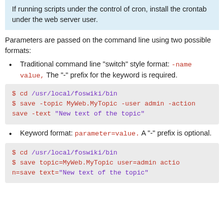If running scripts under the control of cron, install the crontab under the web server user.
Parameters are passed on the command line using two possible formats:
Traditional command line "switch" style format: -name value, The "-" prefix for the keyword is required.
[Figure (screenshot): Code block: $ cd /usr/local/foswiki/bin
$ save -topic MyWeb.MyTopic -user admin -action save -text "New text of the topic"]
Keyword format: parameter=value. A "-" prefix is optional.
[Figure (screenshot): Code block: $ cd /usr/local/foswiki/bin
$ save topic=MyWeb.MyTopic user=admin action=save text="New text of the topic"]